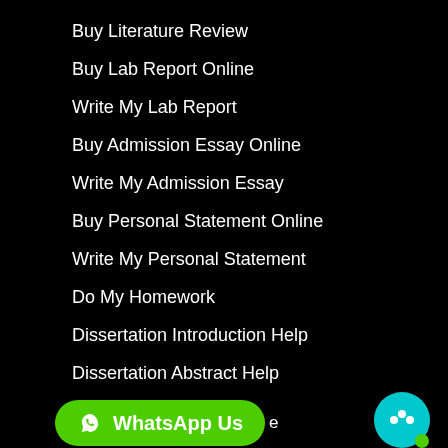Buy Literature Review
Buy Lab Report Online
Write My Lab Report
Buy Admission Essay Online
Write My Admission Essay
Buy Personal Statement Online
Write My Personal Statement
Do My Homework
Dissertation Introduction Help
Dissertation Abstract Help
[Figure (other): WhatsApp Us button with phone icon in green pill shape, and a cyan chat bubble icon with green dot in bottom right corner]
Write My Term Paper